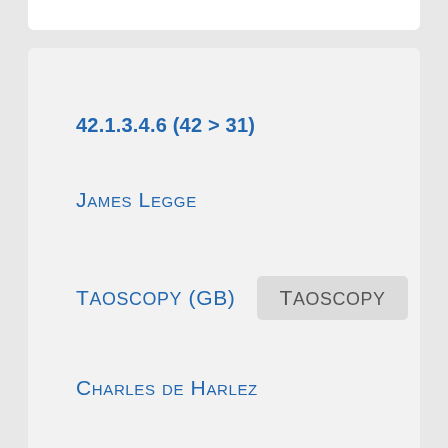42.1.3.4.6 (42 > 31)
James Legge
Taoscopy (GB)
Taoscopy
Charles de Harlez
Taoscopie
Taoszkópia